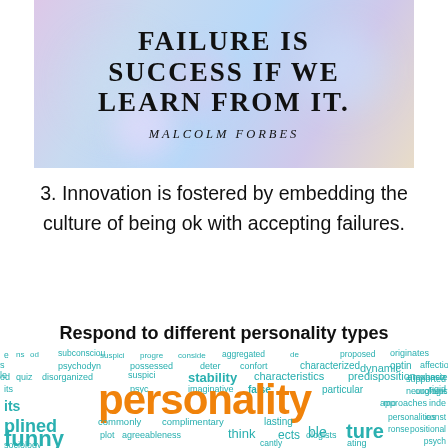[Figure (illustration): Motivational quote image with pastel blurred background. Text reads: FAILURE IS SUCCESS IF WE LEARN FROM IT. — MALCOLM FORBES]
3. Innovation is fostered by embedding the culture of being ok with accepting failures.
Respond to different personality types
[Figure (infographic): Word cloud featuring personality-related words. Dominant large orange word: 'personality'. Other words in teal/cyan: its, plined, stability, characteristics, predisposition, dynamic, particular, characterized, aggregated, imaginative, false, commonly, complimentary, lasting, think, possessed, disorganized, plot, agreeableness, originates, supported, emphasiz, rigid, mo, inde, sociology, funny, and many others.]